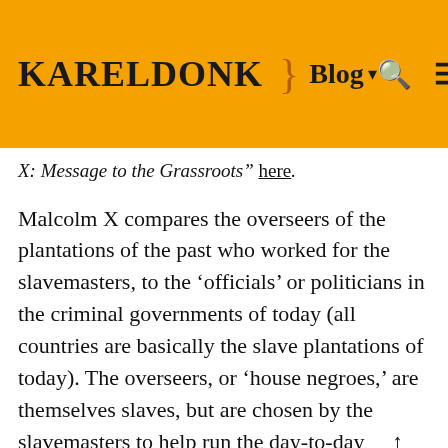KarelDonk } Blog ▾ 🔍 ≡
X: Message to the Grassroots" here.
Malcolm X compares the overseers of the plantations of the past who worked for the slavemasters, to the 'officials' or politicians in the criminal governments of today (all countries are basically the slave plantations of today). The overseers, or 'house negroes,' are themselves slaves, but are chosen by the slavemasters to help run the day-to-day activities on the plantation and keep the rest